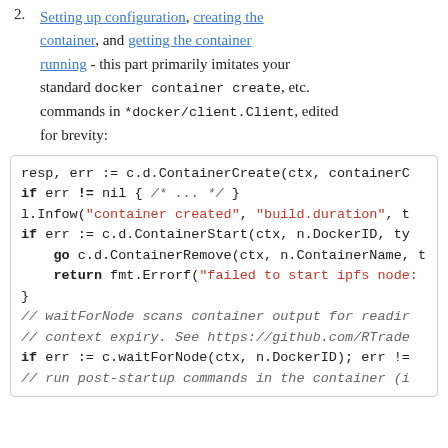2. Setting up configuration, creating the container, and getting the container running - this part primarily imitates your standard docker container create, etc. commands in *docker/client.Client, edited for brevity:
[Figure (screenshot): Code block showing Go code: ContainerCreate, ContainerStart, ContainerRemove, waitForNode calls with string literals highlighted in red and keywords in bold.]